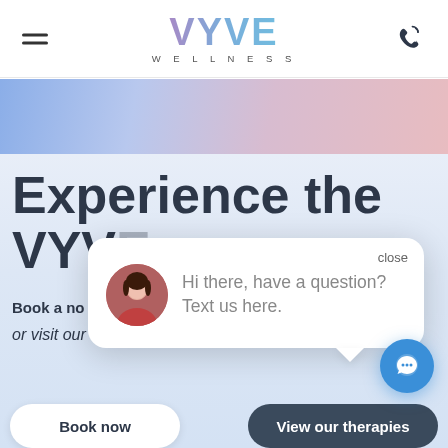[Figure (screenshot): VYVE Wellness website screenshot showing navigation header with hamburger menu, VYVE WELLNESS logo in purple-to-blue gradient, phone icon, a gradient banner strip, and website hero section with large dark heading 'Experience the VYVE', subtext about booking, and a chat popup overlay saying 'Hi there, have a question? Text us here.' with a blue chat FAB button and two bottom buttons: Book now and View our therapies.]